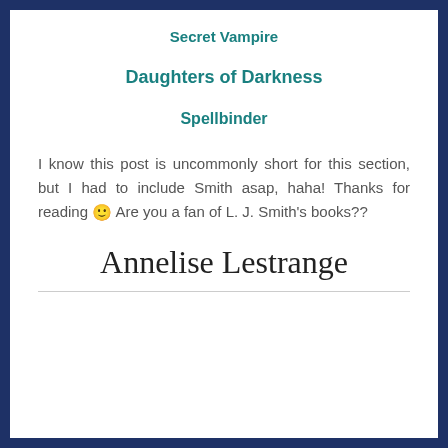Secret Vampire
Daughters of Darkness
Spellbinder
I know this post is uncommonly short for this section, but I had to include Smith asap, haha! Thanks for reading 🙂 Are you a fan of L. J. Smith's books??
[Figure (illustration): Handwritten cursive signature reading 'Annelise Lestrange']